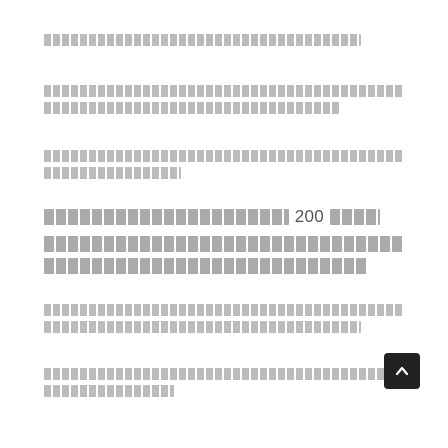[Thai legal text paragraph 1 - single line]
[Thai legal text paragraph 2 - two lines]
[Thai legal text paragraph 3 - two lines]
[Thai legal text paragraph 4 with number 200 - three lines]
[Thai legal text paragraph 5 - two lines]
[Thai legal text paragraph 6 - two lines]